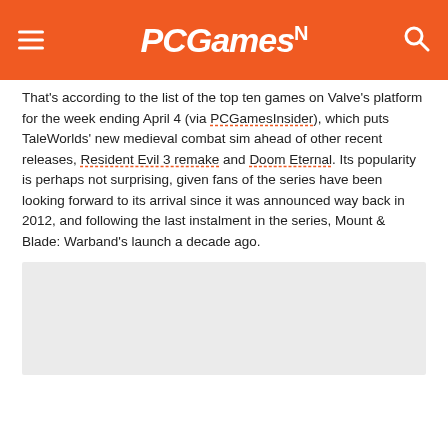PCGamesN
That’s according to the list of the top ten games on Valve’s platform for the week ending April 4 (via PCGamesInsider), which puts TaleWorlds’ new medieval combat sim ahead of other recent releases, Resident Evil 3 remake and Doom Eternal. Its popularity is perhaps not surprising, given fans of the series have been looking forward to its arrival since it was announced way back in 2012, and following the last instalment in the series, Mount & Blade: Warband’s launch a decade ago.
[Figure (other): Grey advertisement placeholder block]